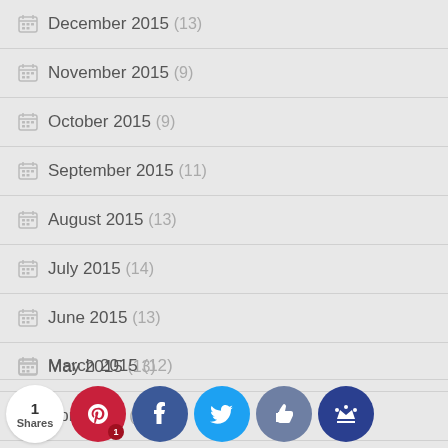December 2015 (13)
November 2015 (9)
October 2015 (9)
September 2015 (11)
August 2015 (13)
July 2015 (14)
June 2015 (13)
May 2015 (13)
April 2015 (13)
March 2015 (12)